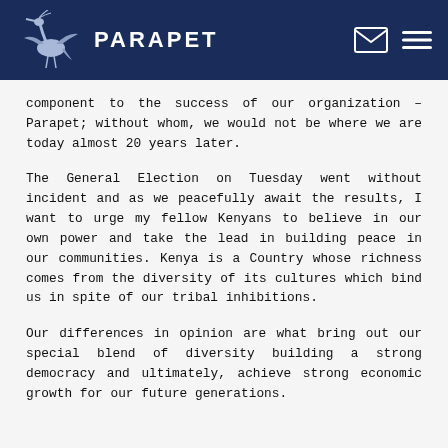PARAPET
component to the success of our organization – Parapet; without whom, we would not be where we are today almost 20 years later.
The General Election on Tuesday went without incident and as we peacefully await the results, I want to urge my fellow Kenyans to believe in our own power and take the lead in building peace in our communities. Kenya is a Country whose richness comes from the diversity of its cultures which bind us in spite of our tribal inhibitions.
Our differences in opinion are what bring out our special blend of diversity building a strong democracy and ultimately, achieve strong economic growth for our future generations.